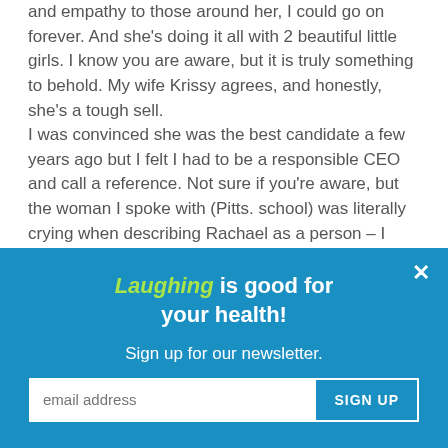and empathy to those around her, I could go on forever. And she's doing it all with 2 beautiful little girls. I know you are aware, but it is truly something to behold. My wife Krissy agrees, and honestly, she's a tough sell.
I was convinced she was the best candidate a few years ago but I felt I had to be a responsible CEO and call a reference. Not sure if you're aware, but the woman I spoke with (Pitts. school) was literally crying when describing Rachael as a person – I absolutely understand that. I didn't call the other reference ;)
Don't mean to ramble on and on, but wanted to make sure you knew we are aware that WWAD hit the Powerball with this one. You should be incredibly proud and the sheer fortune...
[Figure (infographic): Blue popup overlay with italic green 'Laughing' text followed by 'is good for your health!' headline, 'Sign up for our newsletter.' subtext, email address input field, and SIGN UP button. Close X button in top right corner.]